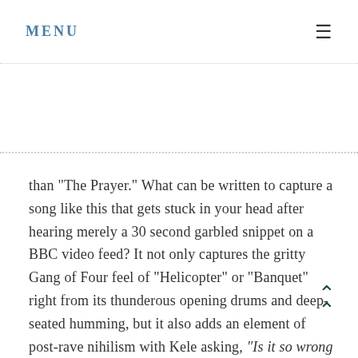MENU ≡
than "The Prayer." What can be written to capture a song like this that gets stuck in your head after hearing merely a 30 second garbled snippet on a BBC video feed? It not only captures the gritty Gang of Four feel of "Helicopter" or "Banquet" right from its thunderous opening drums and deep-seated humming, but it also adds an element of post-rave nihilism with Kele asking, "Is it so wrong to crave recognition?" Bloc Party has created a song that builds and relieves tensions like a